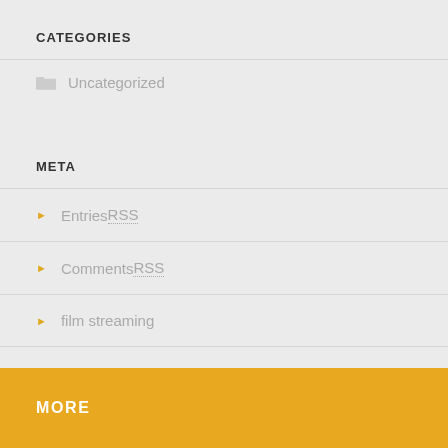CATEGORIES
Uncategorized
META
Entries RSS
Comments RSS
film streaming
MORE